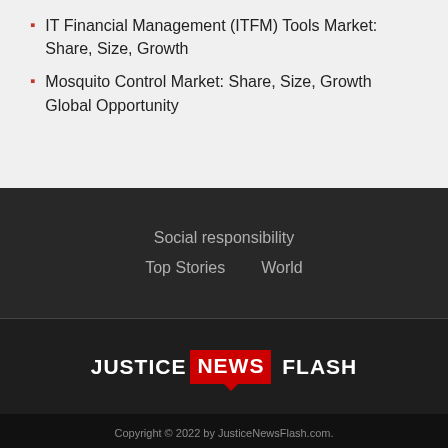IT Financial Management (ITFM) Tools Market: Share, Size, Growth
Mosquito Control Market: Share, Size, Growth Global Opportunity
Social responsibility
Top Stories    World
[Figure (logo): Justice News Flash logo with red speech bubble box around NEWS]
Copyright © 2022 by JusticeNewsFlash.com.